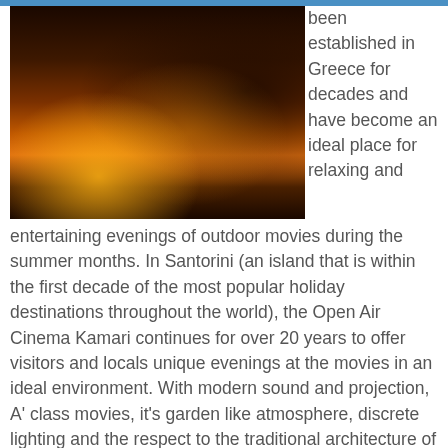[Figure (photo): Nighttime outdoor cinema scene with warm amber/orange lighting illuminating steps and seating area, surrounded by tropical plants and a projection screen visible in the background]
been established in Greece for decades and have become an ideal place for relaxing and entertaining evenings of outdoor movies during the summer months. In Santorini (an island that is within the first decade of the most popular holiday destinations throughout the world), the Open Air Cinema Kamari continues for over 20 years to offer visitors and locals unique evenings at the movies in an ideal environment. With modern sound and projection, A' class movies, it's garden like atmosphere, discrete lighting and the respect to the traditional architecture of Santorini, the cinema has developed into a popular and successful business. Aware of it's role in the local society, the cinema tries to contribute (with the